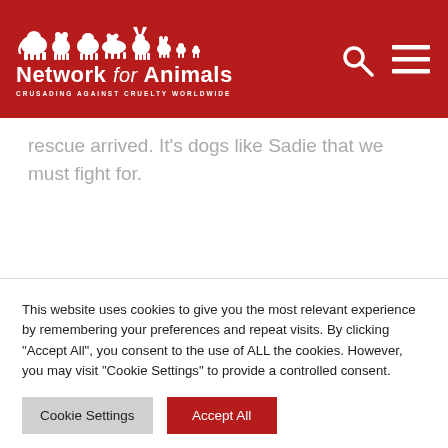Network for Animals — CRUSADING AGAINST CRUELTY WORLDWIDE
rescue arrived. It's dogs like Sadie that we must fight for.
This website uses cookies to give you the most relevant experience by remembering your preferences and repeat visits. By clicking "Accept All", you consent to the use of ALL the cookies. However, you may visit "Cookie Settings" to provide a controlled consent.